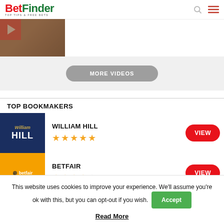BetFinder TOP TIPS & FREE BETS
[Figure (screenshot): Video thumbnail with red play button showing a horse racing image]
MORE VIDEOS
TOP BOOKMAKERS
[Figure (logo): William Hill logo - dark navy background with gold script and white HILL text]
WILLIAM HILL ★★★★★
VIEW
[Figure (logo): Betfair logo - yellow/orange background with betfair text]
BETFAIR ★★★★★
VIEW
This website uses cookies to improve your experience. We'll assume you're ok with this, but you can opt-out if you wish.
Accept
Read More